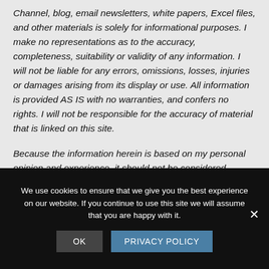Channel, blog, email newsletters, white papers, Excel files, and other materials is solely for informational purposes. I make no representations as to the accuracy, completeness, suitability or validity of any information. I will not be liable for any errors, omissions, losses, injuries or damages arising from its display or use. All information is provided AS IS with no warranties, and confers no rights. I will not be responsible for the accuracy of material that is linked on this site.
Because the information herein is based on my personal opinion and experience, it should not be considered
We use cookies to ensure that we give you the best experience on our website. If you continue to use this site we will assume that you are happy with it.